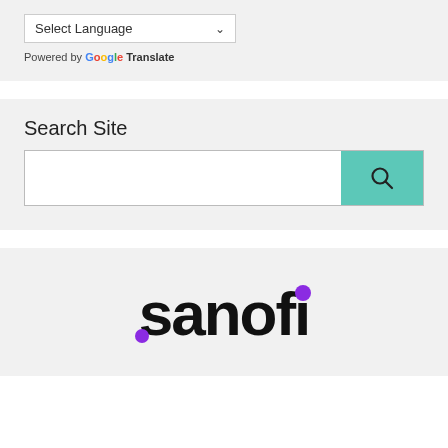Select Language
Powered by Google Translate
Search Site
[Figure (screenshot): Search input box with teal search button containing a magnifying glass icon]
[Figure (logo): Sanofi logo in black with purple dot above the i and purple dot at lower left of the s]